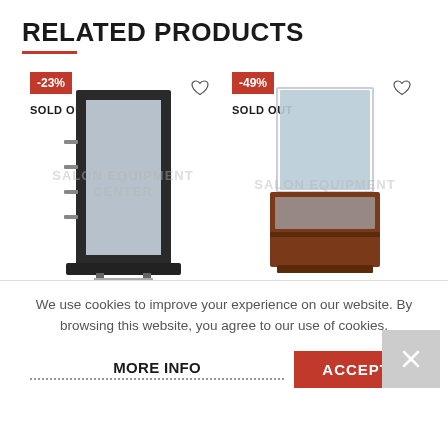RELATED PRODUCTS
[Figure (photo): Salon standing mirror with black frame and side shelves, showing -23% badge, SOLD OUT label, and watermark SALON EQUIPMENT CENTER]
[Figure (photo): Salon standing mirror with wooden cabinet base, showing -49% badge, SOLD OUT label, color options PEARWOOD, BLACK, CHERRY, and watermark SALON EQUIPMENT]
We use cookies to improve your experience on our website. By browsing this website, you agree to our use of cookies.
MORE INFO
ACCEPT